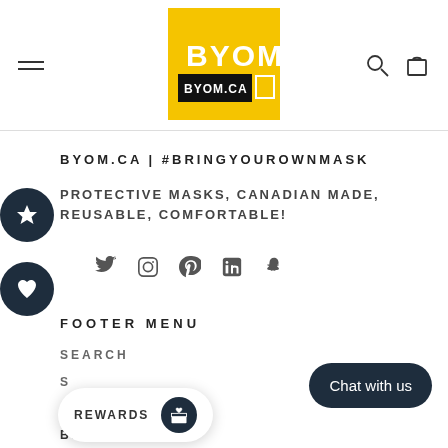[Figure (logo): BYOM yellow square logo with BYOM.CA text in black box]
BYOM.CA | #BRINGYOUROWNMASK
PROTECTIVE MASKS, CANADIAN MADE, REUSABLE, COMFORTABLE!
[Figure (infographic): Social media icons: Twitter, Instagram, Pinterest, LinkedIn, Snapchat]
FOOTER MENU
SEARCH
S
BLOG